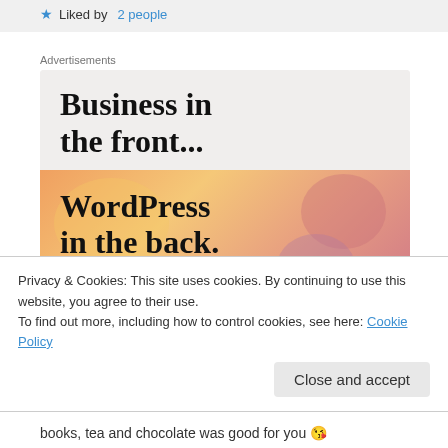Liked by 2 people
Advertisements
[Figure (illustration): WordPress advertisement banner: top section with light beige background says 'Business in the front...' in bold serif font; bottom section with peach/salmon gradient background and decorative blobs says 'WordPress in the back.' in bold serif font.]
Privacy & Cookies: This site uses cookies. By continuing to use this website, you agree to their use.
To find out more, including how to control cookies, see here: Cookie Policy
books, tea and chocolate was good for you 😘